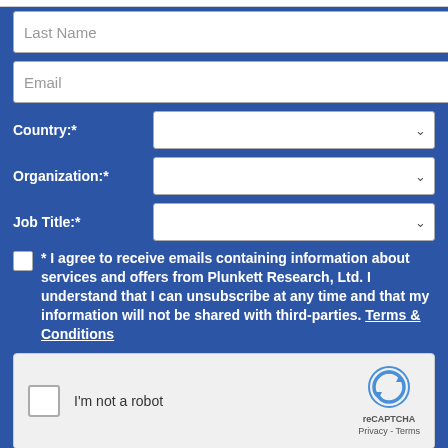Last Name
Email
Country:*
Organization:*
Job Title:*
* I agree to receive emails containing information about services and offers from Plunkett Research, Ltd. I understand that I can unsubscribe at any time and that my information will not be shared with third-parties. Terms & Conditions
[Figure (other): reCAPTCHA widget with checkbox labeled I'm not a robot, reCAPTCHA logo with Privacy and Terms links]